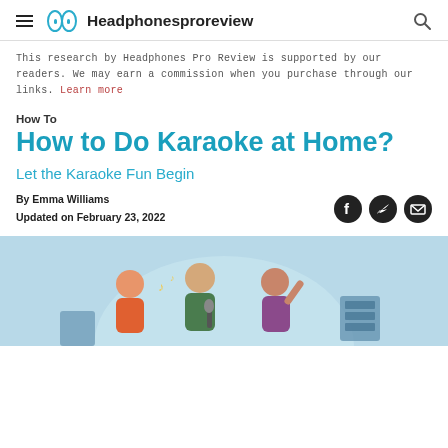Headphonesproreview
This research by Headphones Pro Review is supported by our readers. We may earn a commission when you purchase through our links. Learn more
How To
How to Do Karaoke at Home?
Let the Karaoke Fun Begin
By Emma Williams
Updated on February 23, 2022
[Figure (illustration): Cartoon illustration of three people singing karaoke together on a light blue background]